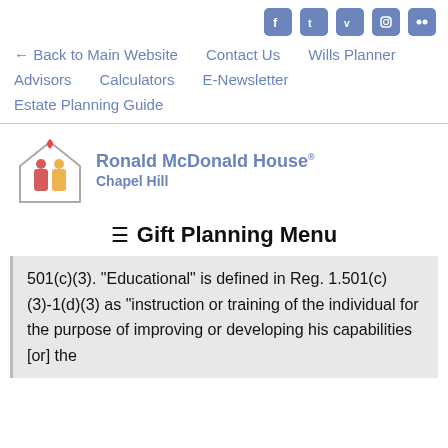[Figure (logo): Social media icons row: Facebook, Twitter, Vimeo, Instagram, Flickr — all in blue rounded square icons]
← Back to Main Website   Contact Us   Wills Planner
Advisors   Calculators   E-Newsletter
Estate Planning Guide
[Figure (logo): Ronald McDonald House Chapel Hill logo — house icon with heart and colorful figures, blue text]
≡ Gift Planning Menu
501(c)(3). "Educational" is defined in Reg. 1.501(c)(3)-1(d)(3) as "instruction or training of the individual for the purpose of improving or developing his capabilities [or] the